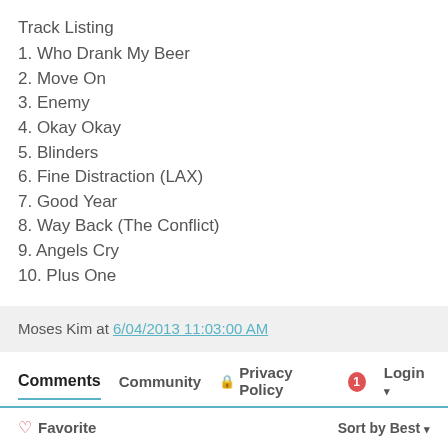Track Listing
1. Who Drank My Beer
2. Move On
3. Enemy
4. Okay Okay
5. Blinders
6. Fine Distraction (LAX)
7. Good Year
8. Way Back (The Conflict)
9. Angels Cry
10. Plus One
Moses Kim at 6/04/2013 11:03:00 AM
Comments  Community  Privacy Policy  Login
Favorite  Sort by Best
Start the discussion...